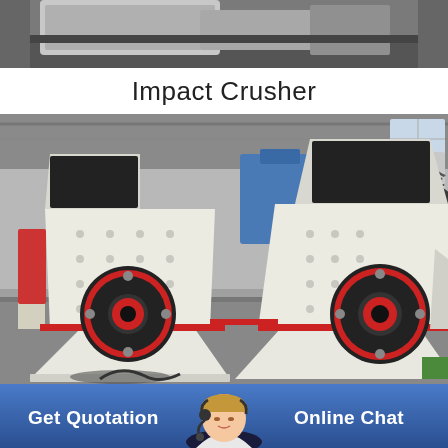[Figure (photo): Top portion of industrial equipment or machinery shown partially, with gray/metallic appearance]
Impact Crusher
[Figure (photo): Two large white and red impact crusher machines in an industrial factory/warehouse setting. The machines have distinctive round flywheels with red and black coloring. The factory has steel staircases and industrial equipment visible in the background.]
[Figure (photo): Customer service representative woman with blonde hair and headset, shown in the bottom banner area]
Get Quotation
Online Chat